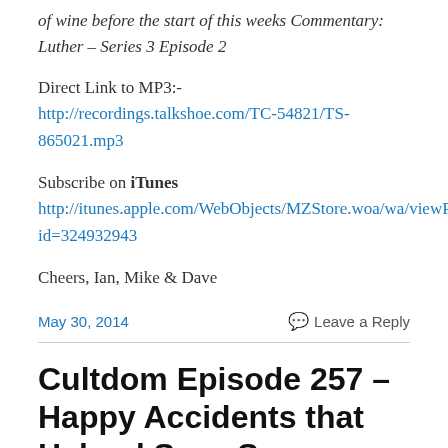of wine before the start of this weeks Commentary: Luther – Series 3 Episode 2
Direct Link to MP3:- http://recordings.talkshoe.com/TC-54821/TS-865021.mp3
Subscribe on iTunes
http://itunes.apple.com/WebObjects/MZStore.woa/wa/viewPodcast?id=324932943
Cheers, Ian, Mike & Dave
May 30, 2014    Leave a Reply
Cultdom Episode 257 – Happy Accidents that Helped Save Sc...